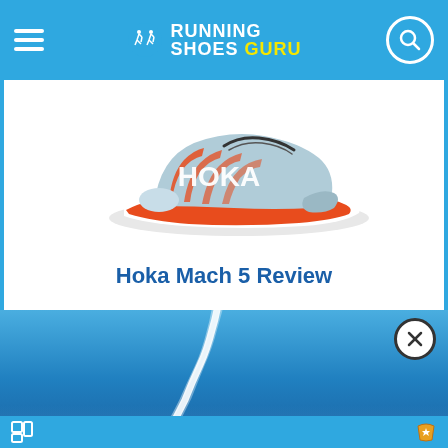Running Shoes Guru
[Figure (photo): Hoka Mach 5 running shoe in light blue and orange colorway, side profile view on white background]
Hoka Mach 5 Review
[Figure (photo): Advertisement showing a blue sky with a white vapor trail/contrail from an aircraft, with a close button (X) in the top right corner]